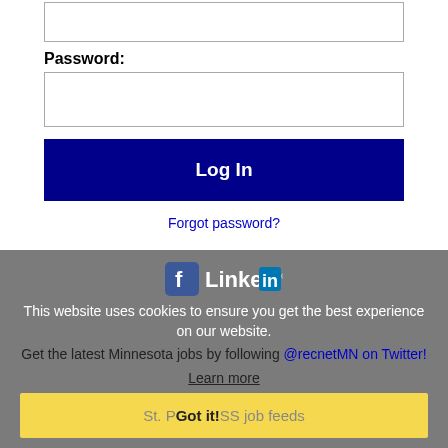[input field top]
Password:
[password input field]
Log In
Forgot password?
[Figure (screenshot): Cookie consent overlay with Facebook and LinkedIn icons, cookie notice text, Twitter follow text, Learn more link, and Got it button with St. Paul RSS job feeds text]
This website uses cookies to ensure you get the best experience on our website.
Get the latest Minnesota jobs by following @recnetMN on Twitter!
Learn more
St. Paul RSS job feeds  Got it!